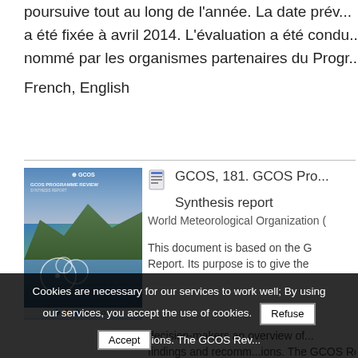poursuive tout au long de l'année. La date prévue...
a été fixée à avril 2014. L'évaluation a été condu...
nommé par les organismes partenaires du Progr...
French, English
[Figure (photo): Cover of GCOS Programme Review document showing landscape with mountains and water with GCOS logo]
GCOS, 181. GCOS Pro... Synthesis report
World Meteorological Organization (
This document is based on the G
Report. Its purpose is to give the
decision-makers an overview of
findings and recommendations. The GCOS Rev...
Cookies are necessary for our services to work well; By using our services, you accept the use of cookies.